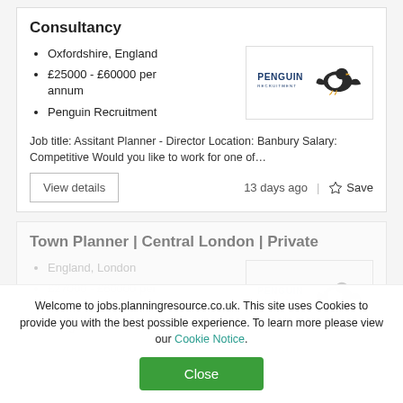Consultancy
Oxfordshire, England
£25000 - £60000 per annum
Penguin Recruitment
[Figure (logo): Penguin Recruitment logo with penguin graphic]
Job title: Assitant Planner - Director Location: Banbury Salary: Competitive Would you like to work for one of…
View details
13 days ago
Save
Town Planner | Central London | Private
England, London
£27000 - £60000 per annum
Penguin Recruitment
[Figure (logo): Penguin Recruitment logo (faded)]
Welcome to jobs.planningresource.co.uk. This site uses Cookies to provide you with the best possible experience. To learn more please view our Cookie Notice.
Close